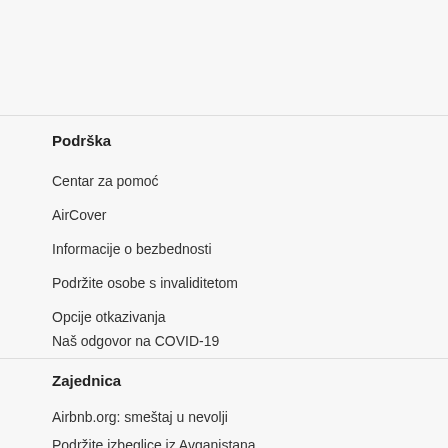Podrška
Centar za pomoć
AirCover
Informacije o bezbednosti
Podržite osobe s invaliditetom
Opcije otkazivanja
Naš odgovor na COVID-19
Prijavite problem u okolini
Zajednica
Airbnb.org: smeštaj u nevolji
Podržite izbeglice iz Avganistana